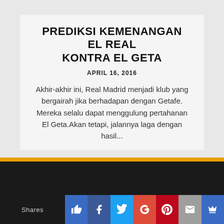PREDIKSI KEMENANGAN EL REAL KONTRA EL GETA
APRIL 16, 2016
Akhir-akhir ini, Real Madrid menjadi klub yang bergairah jika berhadapan dengan Getafe. Mereka selalu dapat menggulung pertahanan El Geta. Akan tetapi, jalannya laga dengan hasil...
[Figure (screenshot): Social media share buttons bar with Shares label, thumbs-up/like, Facebook, Twitter, Google+, Pinterest, email, and crown icons]